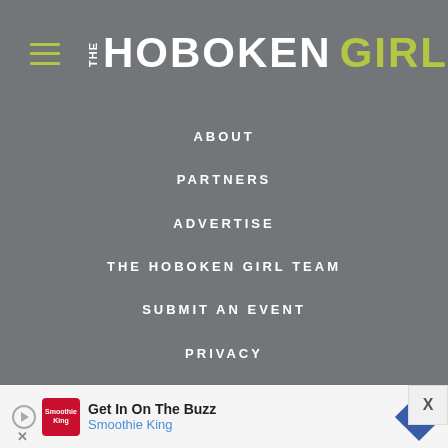THE HOBOKEN GIRL
ABOUT
PARTNERS
ADVERTISE
THE HOBOKEN GIRL TEAM
SUBMIT AN EVENT
PRIVACY
[Figure (other): Advertisement banner: Get In On The Buzz - Smoothie King]
Get In On The Buzz
Smoothie King